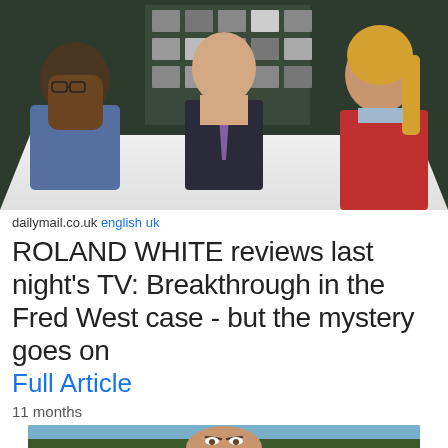[Figure (photo): Three people seated at a white table in a dark room with a wall of photographs behind them. On the left is an older Black man in a blue blazer, in the centre is a heavyset white man in a suit with a purple tie, and on the right is a blonde woman in a red cardigan.]
dailymail.co.uk english uk
ROLAND WHITE reviews last night's TV: Breakthrough in the Fred West case - but the mystery goes on
Full Article
11 months
[Figure (photo): Partial view of a man's face from the nose up, outdoors with sky and trees in the background.]